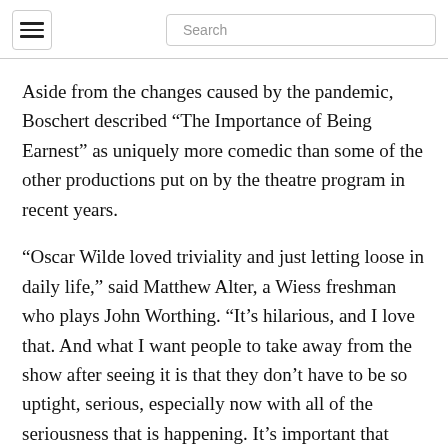Search
Aside from the changes caused by the pandemic, Boschert described “The Importance of Being Earnest” as uniquely more comedic than some of the other productions put on by the theatre program in recent years.
“Oscar Wilde loved triviality and just letting loose in daily life,” said Matthew Alter, a Wiess freshman who plays John Worthing. “It’s hilarious, and I love that. And what I want people to take away from the show after seeing it is that they don’t have to be so uptight, serious, especially now with all of the seriousness that is happening. It’s important that people realize that they can, you know, let loose, and that’s what theatre does. It entertains. It takes away your stress for a couple hours.”